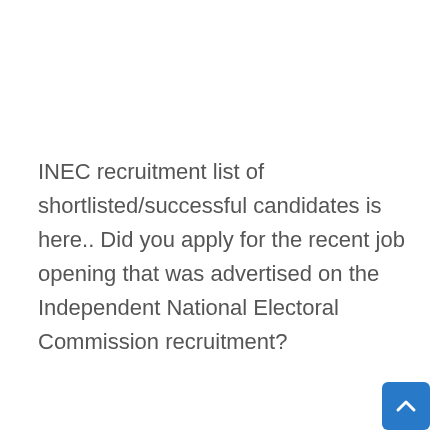INEC recruitment list of shortlisted/successful candidates is here.. Did you apply for the recent job opening that was advertised on the Independent National Electoral Commission recruitment?
Here are a few steps to Check if your name has been published on the list of those who are to go for screenings and other forms of exercise aim at selecting the best amongst the number of candidates who applied...